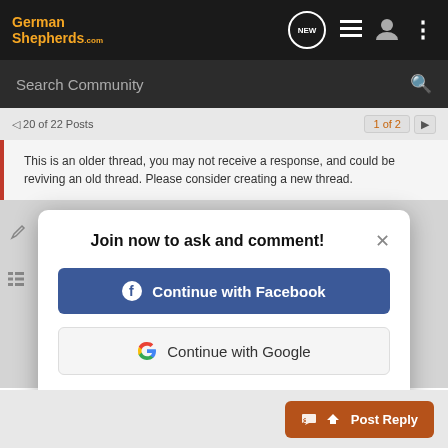GermanShepherds.com — navigation header with NEW, list, user, and menu icons
Search Community
20 of 22 Posts   1 of 2 ►
This is an older thread, you may not receive a response, and could be reviving an old thread. Please consider creating a new thread.
Join now to ask and comment!
Continue with Facebook
Continue with Google
or sign up with email
Post Reply